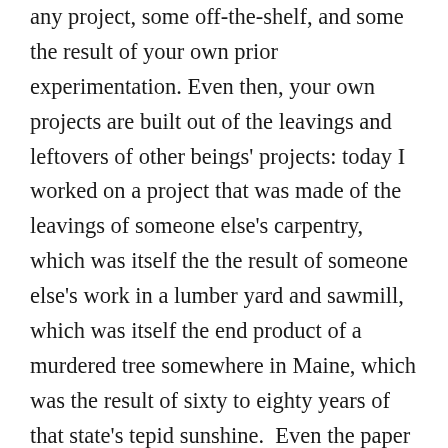any project, some off-the-shelf, and some the result of your own prior experimentation. Even then, your own projects are built out of the leavings and leftovers of other beings' projects: today I worked on a project that was made of the leavings of someone else's carpentry, which was itself the the result of someone else's work in a lumber yard and sawmill, which was itself the end product of a murdered tree somewhere in Maine, which was the result of sixty to eighty years of that state's tepid sunshine.  Even the paper for the book comes from somewhere else — perhaps the pulped remains of my other